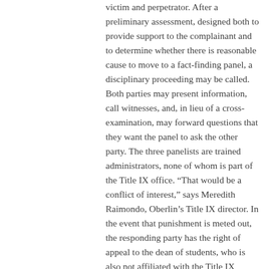victim and perpetrator. After a preliminary assessment, designed both to provide support to the complainant and to determine whether there is reasonable cause to move to a fact-finding panel, a disciplinary proceeding may be called. Both parties may present information, call witnesses, and, in lieu of a cross-examination, may forward questions that they want the panel to ask the other party. The three panelists are trained administrators, none of whom is part of the Title IX office. “That would be a conflict of interest,” says Meredith Raimondo, Oberlin’s Title IX director. In the event that punishment is meted out, the responding party has the right of appeal to the dean of students, who is also not affiliated with the Title IX office.